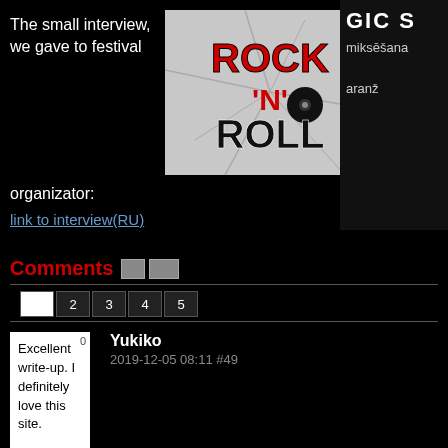The small interview, we gave to festival
[Figure (illustration): Rock 'N' Roll logo with vinyl record on cracked background]
[Figure (other): Right column banner showing 'GIC S' with 'miksešana' and 'aranz' text on dark background]
organizator:
link to interview(RU)
Comments
Yukiko
2019-12-05 08:11 #49
Excellent write-up. I definitely love this site.